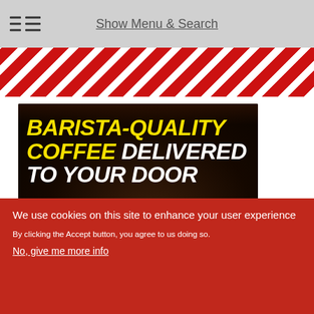Show Menu & Search
[Figure (photo): A barista pouring coffee in a dark setting, used as a promotional banner image with text overlay: 'BARISTA-QUALITY COFFEE DELIVERED TO YOUR DOOR']
We use cookies on this site to enhance your user experience
By clicking the Accept button, you agree to us doing so.
No, give me more info